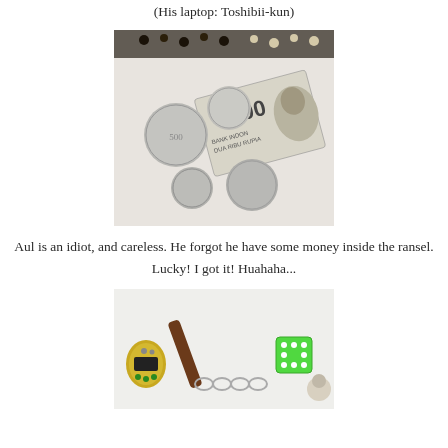(His laptop: Toshibii-kun)
[Figure (photo): Photo of Indonesian 2000 rupiah banknote folded, surrounded by several silver coins, with beaded necklaces visible in the background on a white surface.]
Aul is an idiot, and careless. He forgot he have some money inside the ransel.
Lucky! I got it! Huahaha...
[Figure (photo): Photo of various keychains, a tamagotchi-style toy, a green dice, and small figurines laid out on a white surface.]